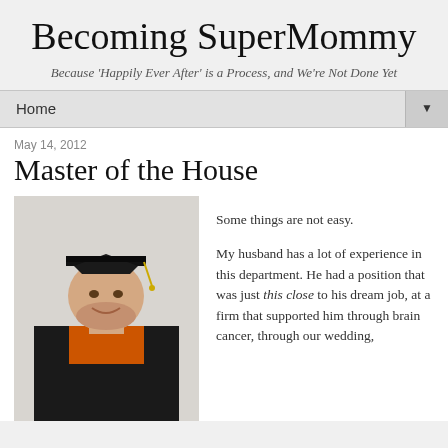Becoming SuperMommy
Because 'Happily Ever After' is a Process, and We're Not Done Yet
Home ▼
May 14, 2012
Master of the House
[Figure (photo): Man in black graduation cap and gown with orange sash, smiling, standing against a light wall]
Some things are not easy.

My husband has a lot of experience in this department. He had a position that was just this close to his dream job, at a firm that supported him through brain cancer, through our wedding,